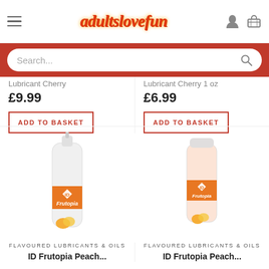adultslovefun — navigation header with hamburger menu, logo, user icon, basket icon
Search...
Lubricant Cherry
£9.99
ADD TO BASKET
Lubricant Cherry 1 oz
£6.99
ADD TO BASKET
[Figure (photo): ID Frutopia mango flavoured lubricant large pump bottle, white/orange branding]
[Figure (photo): ID Frutopia mango flavoured lubricant small travel bottle, orange/pink branding]
FLAVOURED LUBRICANTS & OILS
ID Frutopia Peach...
FLAVOURED LUBRICANTS & OILS
ID Frutopia Peach...